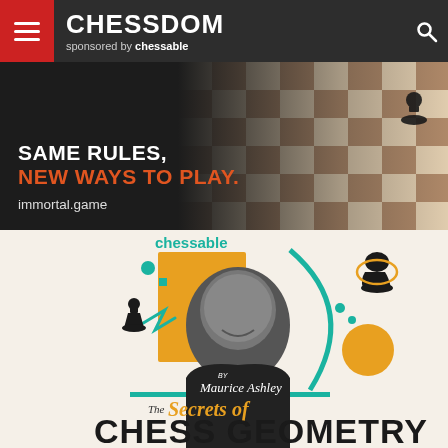CHESSDOM sponsored by chessable
[Figure (screenshot): Chess board advertisement banner: 'SAME RULES, NEW WAYS TO PLAY. immortal.game' on dark background with chess board image]
[Figure (illustration): Chessable advertisement featuring Maurice Ashley with 'The Secrets of Chess Geometry' book cover on cream background with orange and teal graphic elements and chess pieces]